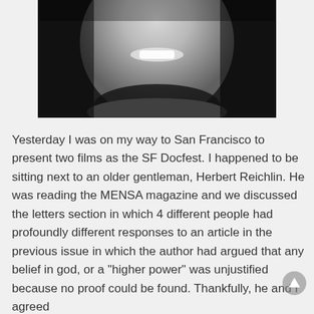[Figure (photo): Black and white close-up photo of an older smiling man, showing face and upper chest]
Yesterday I was on my way to San Francisco to present two films as the SF Docfest. I happened to be sitting next to an older gentleman, Herbert Reichlin. He was reading the MENSA magazine and we discussed the letters section in which 4 different people had profoundly different responses to an article in the previous issue in which the author had argued that any belief in god, or a "higher power" was unjustified because no proof could be found. Thankfully, he and I agreed